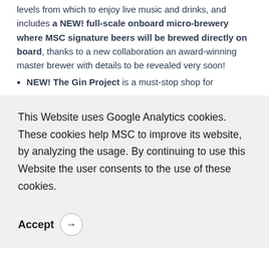levels from which to enjoy live music and drinks, and includes a NEW! full-scale onboard micro-brewery where MSC signature beers will be brewed directly on board, thanks to a new collaboration an award-winning master brewer with details to be revealed very soon!
NEW! The Gin Project is a must-stop shop for
This Website uses Google Analytics cookies. These cookies help MSC to improve its website, by analyzing the usage. By continuing to use this Website the user consents to the use of these cookies.
Accept →